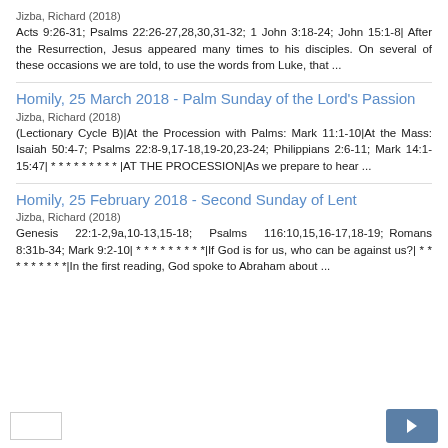Jizba, Richard (2018)
Acts 9:26-31; Psalms 22:26-27,28,30,31-32; 1 John 3:18-24; John 15:1-8| After the Resurrection, Jesus appeared many times to his disciples. On several of these occasions we are told, to use the words from Luke, that ...
Homily, 25 March 2018 - Palm Sunday of the Lord's Passion
Jizba, Richard (2018)
(Lectionary Cycle B)|At the Procession with Palms: Mark 11:1-10|At the Mass: Isaiah 50:4-7; Psalms 22:8-9,17-18,19-20,23-24; Philippians 2:6-11; Mark 14:1-15:47| * * * * * * * * * |AT THE PROCESSION|As we prepare to hear ...
Homily, 25 February 2018 - Second Sunday of Lent
Jizba, Richard (2018)
Genesis 22:1-2,9a,10-13,15-18; Psalms 116:10,15,16-17,18-19; Romans 8:31b-34; Mark 9:2-10| * * * * * * * * *|If God is for us, who can be against us?| * * * * * * * * *|In the first reading, God spoke to Abraham about ...